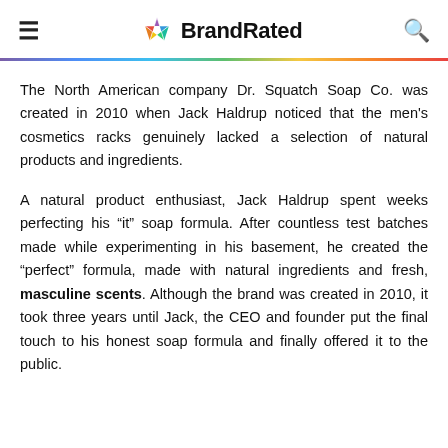BrandRated
The North American company Dr. Squatch Soap Co. was created in 2010 when Jack Haldrup noticed that the men’s cosmetics racks genuinely lacked a selection of natural products and ingredients.
A natural product enthusiast, Jack Haldrup spent weeks perfecting his “it” soap formula. After countless test batches made while experimenting in his basement, he created the “perfect” formula, made with natural ingredients and fresh, masculine scents. Although the brand was created in 2010, it took three years until Jack, the CEO and founder put the final touch to his honest soap formula and finally offered it to the public.